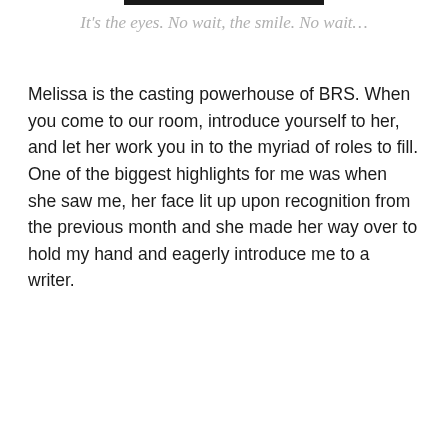It's the eyes. No wait, the smile. No wait…
Melissa is the casting powerhouse of BRS. When you come to our room, introduce yourself to her, and let her work you in to the myriad of roles to fill. One of the biggest highlights for me was when she saw me, her face lit up upon recognition from the previous month and she made her way over to hold my hand and eagerly introduce me to a writer.